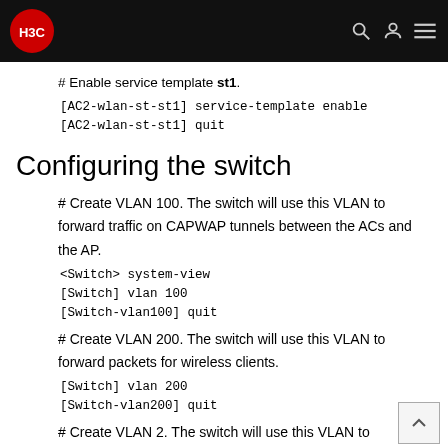H3C
# Enable service template st1.
[AC2-wlan-st-st1] service-template enable
[AC2-wlan-st-st1] quit
Configuring the switch
# Create VLAN 100. The switch will use this VLAN to forward traffic on CAPWAP tunnels between the ACs and the AP.
<Switch> system-view
[Switch] vlan 100
[Switch-vlan100] quit
# Create VLAN 200. The switch will use this VLAN to forward packets for wireless clients.
[Switch] vlan 200
[Switch-vlan200] quit
# Create VLAN 2. The switch will use this VLAN to